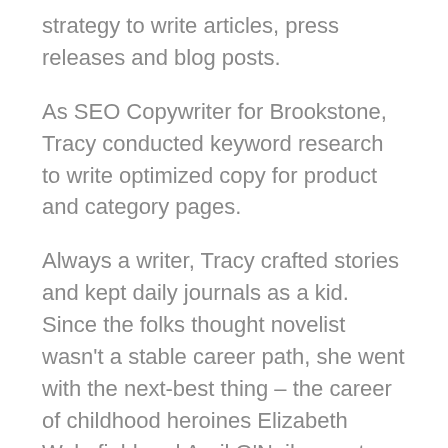strategy to write articles, press releases and blog posts.
As SEO Copywriter for Brookstone, Tracy conducted keyword research to write optimized copy for product and category pages.
Always a writer, Tracy crafted stories and kept daily journals as a kid. Since the folks thought novelist wasn't a stable career path, she went with the next-best thing – the career of childhood heroines Elizabeth Wakefield and April O'Neil: reporter.